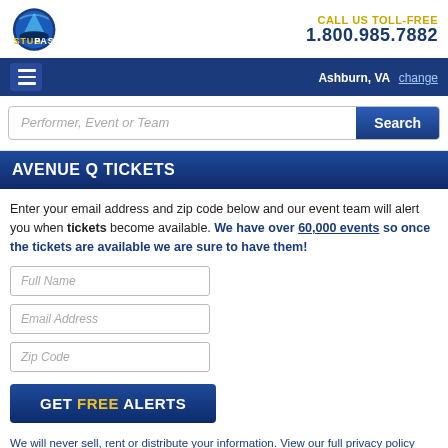[Figure (logo): StubPass logo with shark fin and text]
CALL US TOLL-FREE
1.800.985.7882
Ashburn, VA  change
Performer, Event or Team  [Search]
AVENUE Q TICKETS
Enter your email address and zip code below and our event team will alert you when tickets become available. We have over 60,000 events so once the tickets are available we are sure to have them!
Full Name
Email Address
Zip Code
GET FREE ALERTS
We will never sell, rent or distribute your information. View our full privacy policy here. If you have interest in other tickets visit and browse our Sports, Concerts,